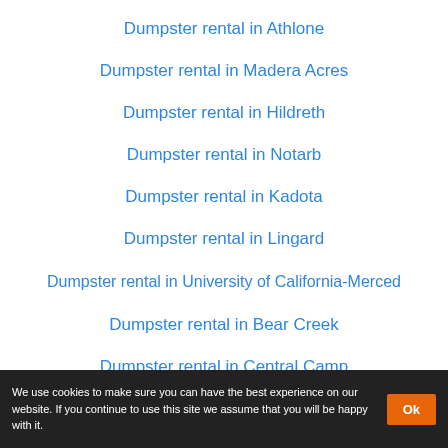Dumpster rental in Athlone
Dumpster rental in Madera Acres
Dumpster rental in Hildreth
Dumpster rental in Notarb
Dumpster rental in Kadota
Dumpster rental in Lingard
Dumpster rental in University of California-Merced
Dumpster rental in Bear Creek
Dumpster rental in Central Camp
We use cookies to make sure you can have the best experience on our website. If you continue to use this site we assume that you will be happy with it. Ok